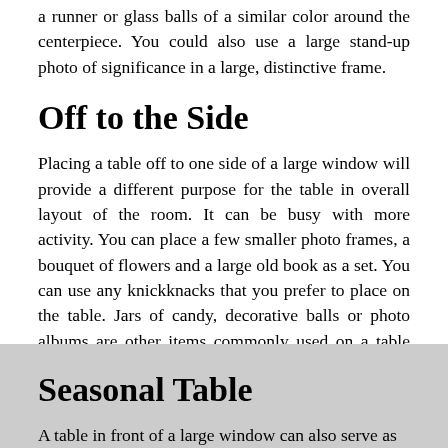a runner or glass balls of a similar color around the centerpiece. You could also use a large stand-up photo of significance in a large, distinctive frame.
Off to the Side
Placing a table off to one side of a large window will provide a different purpose for the table in overall layout of the room. It can be busy with more activity. You can place a few smaller photo frames, a bouquet of flowers and a large old book as a set. You can use any knickknacks that you prefer to place on the table. Jars of candy, decorative balls or photo albums are other items commonly used on a table positioned off to the side of a large window.
Seasonal Table
A table in front of a large window can also serve as